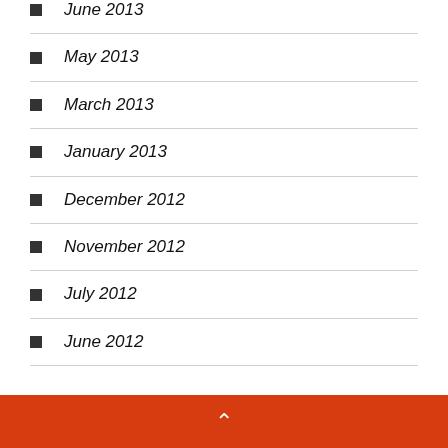June 2013
May 2013
March 2013
January 2013
December 2012
November 2012
July 2012
June 2012
^